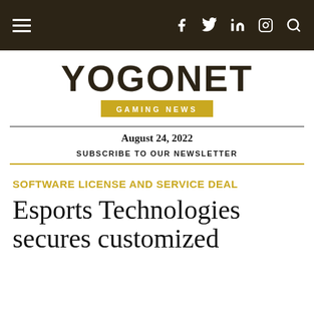YOGONET GAMING NEWS — navigation bar with hamburger menu, social icons (Facebook, Twitter, LinkedIn, Instagram), and search icon
YOGONET GAMING NEWS
August 24, 2022
SUBSCRIBE TO OUR NEWSLETTER
SOFTWARE LICENSE AND SERVICE DEAL
Esports Technologies secures customized